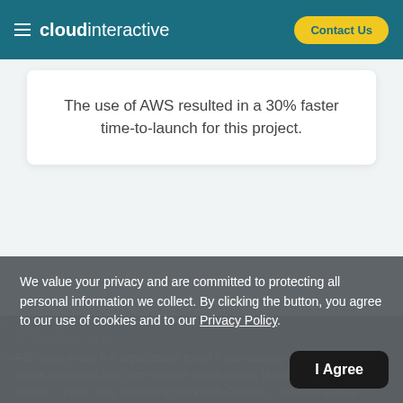cloud interactive | Contact Us
The use of AWS resulted in a 30% faster time-to-launch for this project.
Challenge
For many years, the organization found it increasingly difficult to share digital resources and communicate within teams, but lacked a suitable software. When they decided to work with Cloud Interactive to develop such a solution, they identified two priorities.
We value your privacy and are committed to protecting all personal information we collect. By clicking the button, you agree to our use of cookies and to our Privacy Policy.